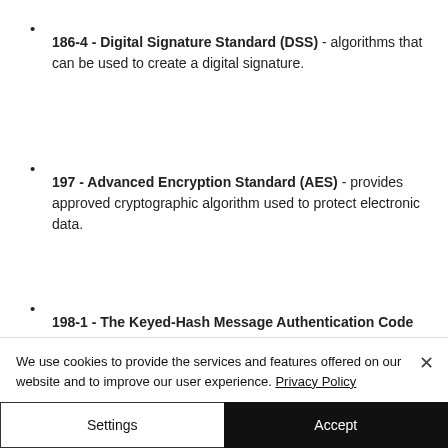186-4 - Digital Signature Standard (DSS) - algorithms that can be used to create a digital signature.
197 - Advanced Encryption Standard (AES) - provides approved cryptographic algorithm used to protect electronic data.
198-1 - The Keyed-Hash Message Authentication Code (HMAC) - a keyed-hash message authentication code (HMAC) is a specific type of message authentication
We use cookies to provide the services and features offered on our website and to improve our user experience. Privacy Policy